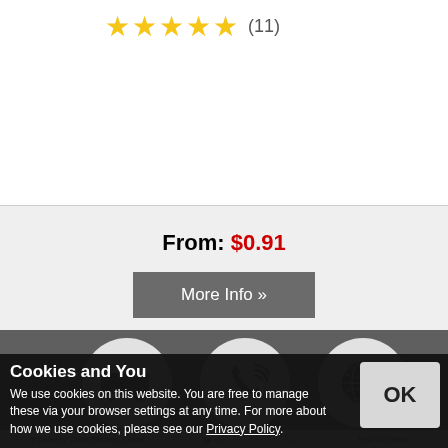★★★★★ (11)
From: $0.91
More Info »
[Figure (illustration): Three circular icon buttons on dark grey background: delivery truck icon, phone with sound waves icon, globe icon]
FREE UK DELIVERY ON ORDERS OVER £100
WE ACCEPT TELEPHONE ORDERS CALL 01844 885100
WE SHIP WORLDWIDE
Cookies and You
We use cookies on this website. You are free to manage these via your browser settings at any time. For more about how we use cookies, please see our Privacy Policy.
OK